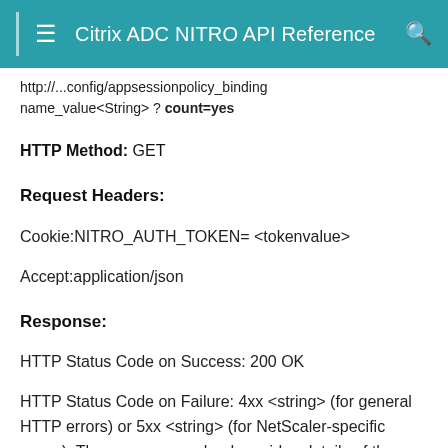Citrix ADC NITRO API Reference
http://...config/appsessionpolicy_binding name_value<String> ? count=yes
HTTP Method: GET
Request Headers:
Cookie:NITRO_AUTH_TOKEN= <tokenvalue>
Accept:application/json
Response:
HTTP Status Code on Success: 200 OK
HTTP Status Code on Failure: 4xx <string> (for general HTTP errors) or 5xx <string> (for NetScaler-specific errors). The response payload provides details of the error.